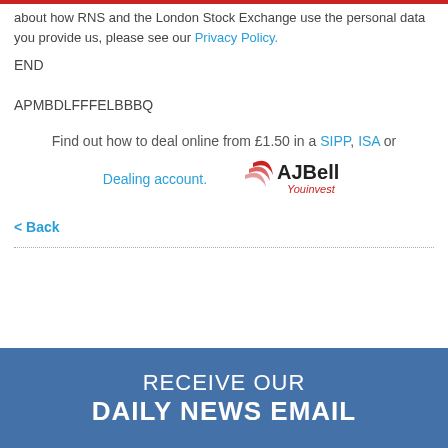about how RNS and the London Stock Exchange use the personal data you provide us, please see our Privacy Policy.
END
APMBDLFFFELBBBQ
Find out how to deal online from £1.50 in a SIPP, ISA or Dealing account. [AJ Bell Youinvest logo]
< Back
RECEIVE OUR DAILY NEWS EMAIL